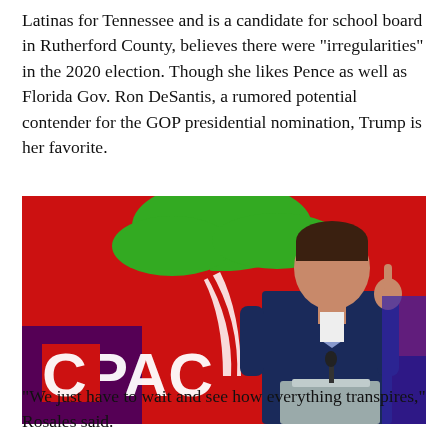Latinas for Tennessee and is a candidate for school board in Rutherford County, believes there were “irregularities” in the 2020 election. Though she likes Pence as well as Florida Gov. Ron DeSantis, a rumored potential contender for the GOP presidential nomination, Trump is her favorite.
[Figure (photo): A man in a dark navy suit with a light blue tie stands at a podium with one finger raised, speaking at what appears to be a CPAC event. The background features a red backdrop with a green and white palm tree logo.]
“We just have to wait and see how everything transpires,” Rosales said.